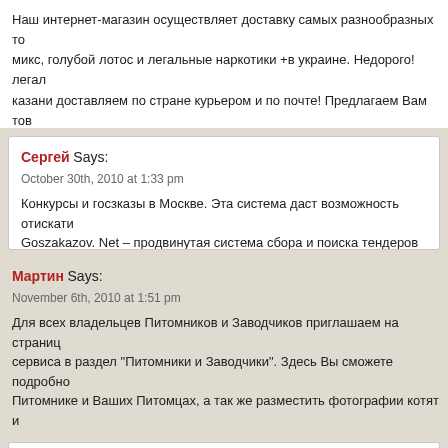Наш интернет-магазин осуществляет доставку самых разнообразных то... микс, голубой лотос и легальные наркотики +в украине. Недорого! легал... казани доставляем по стране курьером и по почте! Предлагаем Вам тов... легальные наркотики по самым доступным ценам! все наши товары:лега... новосибирске, курительные смеси оптом, голубой лотос – гарантируют н... эффект!
Сергей Says:
October 30th, 2010 at 1:33 pm
Конкурсы и госзказы в Москве. Эта система даст возможность отискати... Goszakazov. Net – продвинутая система сбора и поиска тендеров и гос... возможность даже одному сотруднику контролировать тендеры и госза...
Мартин Says:
November 6th, 2010 at 1:51 pm
Для всех владельцев Питомников и Заводчиков приглашаем на страниц... сервиса в раздел "Питомники и Заводчики". Здесь Вы сможете подробно... Питомнике и Ваших Питомцах, а так же разместить фотографии котят и...
Ярослав Says: